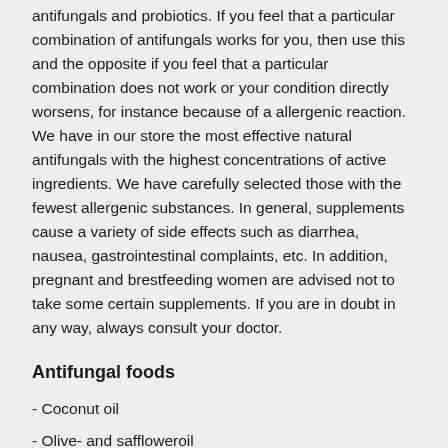antifungals and probiotics. If you feel that a particular combination of antifungals works for you, then use this and the opposite if you feel that a particular combination does not work or your condition directly worsens, for instance because of a allergenic reaction. We have in our store the most effective natural antifungals with the highest concentrations of active ingredients. We have carefully selected those with the fewest allergenic substances. In general, supplements cause a variety of side effects such as diarrhea, nausea, gastrointestinal complaints, etc. In addition, pregnant and brestfeeding women are advised not to take some certain supplements. If you are in doubt in any way, always consult your doctor.
Antifungal foods
- Coconut oil
- Olive- and saffloweroil
- Garlic